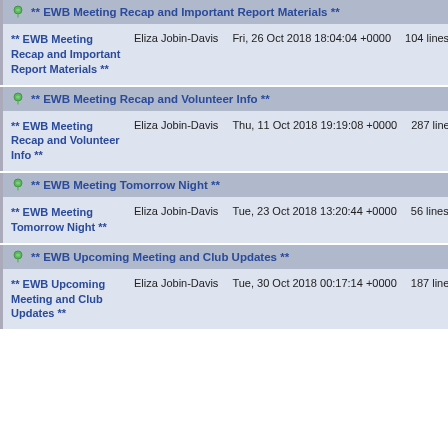** EWB Meeting Recap and Important Report Materials **
** EWB Meeting Recap and Important Report Materials **
Eliza Jobin-Davis
Fri, 26 Oct 2018 18:04:04 +0000
104 lines
** EWB Meeting Recap and Volunteer Info **
** EWB Meeting Recap and Volunteer Info **
Eliza Jobin-Davis
Thu, 11 Oct 2018 19:19:08 +0000
287 lines
** EWB Meeting Tomorrow Night **
** EWB Meeting Tomorrow Night **
Eliza Jobin-Davis
Tue, 23 Oct 2018 13:20:44 +0000
56 lines
** EWB Upcoming Meeting and Club Updates **
** EWB Upcoming Meeting and Club Updates **
Eliza Jobin-Davis
Tue, 30 Oct 2018 00:17:14 +0000
187 lines